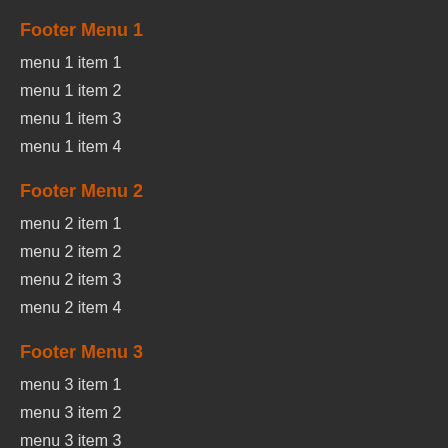Footer Menu 1
menu 1 item 1
menu 1 item 2
menu 1 item 3
menu 1 item 4
Footer Menu 2
menu 2 item 1
menu 2 item 2
menu 2 item 3
menu 2 item 4
Footer Menu 3
menu 3 item 1
menu 3 item 2
menu 3 item 3
menu 3 item 4
Footer Menu 4